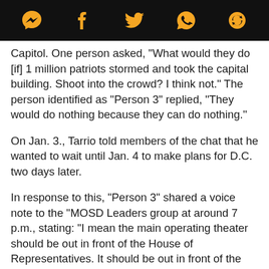[Social media sharing icons: Messenger, Facebook, Twitter, WhatsApp, other]
Capitol. One person asked, "What would they do [if] 1 million patriots stormed and took the capital building. Shoot into the crowd? I think not." The person identified as “Person 3” replied, “They would do nothing because they can do nothing.”
On Jan. 3., Tarrio told members of the chat that he wanted to wait until Jan. 4 to make plans for D.C. two days later.
In response to this, “Person 3” shared a voice note to the “MOSD Leaders group at around 7 p.m., stating: “I mean the main operating theater should be out in front of the House of Representatives. It should be out in front of the Capitol building. That’s where the vote is taking place and all of the objections, so we can ignore the rest of these stages and all that shit and plan the operations based around the front entrance to the Capitol building to learn how everyone’s operating”